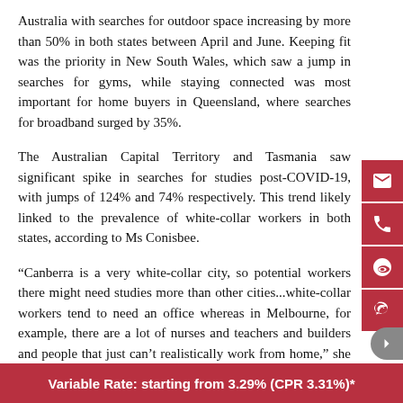Australia with searches for outdoor space increasing by more than 50% in both states between April and June. Keeping fit was the priority in New South Wales, which saw a jump in searches for gyms, while staying connected was most important for home buyers in Queensland, where searches for broadband surged by 35%.
The Australian Capital Territory and Tasmania saw significant spike in searches for studies post-COVID-19, with jumps of 124% and 74% respectively. This trend likely linked to the prevalence of white-collar workers in both states, according to Ms Conisbee.
“Canberra is a very white-collar city, so potential workers there might need studies more than other cities...white-collar workers tend to need an office whereas in Melbourne, for example, there are a lot of nurses and teachers and builders and people that just can’t realistically work from home,” she explained.
Variable Rate: starting from 3.29% (CPR 3.31%)*